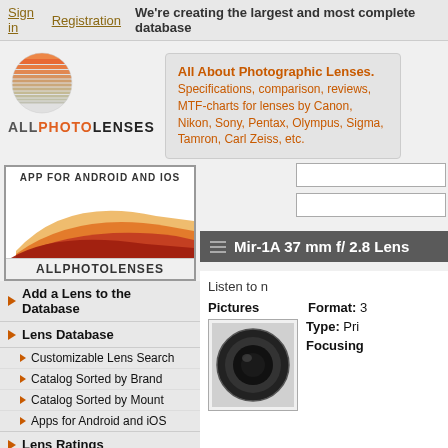Sign in  Registration  We're creating the largest and most complete database
[Figure (logo): AllPhotoLenses logo: orange striped sphere with text ALLPHOTOLENSES below]
All About Photographic Lenses. Specifications, comparison, reviews, MTF-charts for lenses by Canon, Nikon, Sony, Pentax, Olympus, Sigma, Tamron, Carl Zeiss, etc.
[Figure (screenshot): App for Android and iOS banner with AllPhotoLenses app graphic and logo]
Add a Lens to the Database
Lens Database
Customizable Lens Search
Catalog Sorted by Brand
Catalog Sorted by Mount
Apps for Android and iOS
Lens Ratings
Sell an Item
Marketplace
Mir-1A 37 mm f/ 2.8 Lens
Listen to n
Pictures
Format: 3
Type: Pri
Focusing